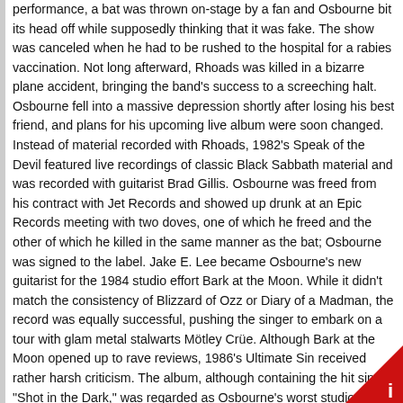performance, a bat was thrown on-stage by a fan and Osbourne bit its head off while supposedly thinking that it was fake. The show was canceled when he had to be rushed to the hospital for a rabies vaccination. Not long afterward, Rhoads was killed in a bizarre plane accident, bringing the band's success to a screeching halt. Osbourne fell into a massive depression shortly after losing his best friend, and plans for his upcoming live album were soon changed. Instead of material recorded with Rhoads, 1982's Speak of the Devil featured live recordings of classic Black Sabbath material and was recorded with guitarist Brad Gillis. Osbourne was freed from his contract with Jet Records and showed up drunk at an Epic Records meeting with two doves, one of which he freed and the other of which he killed in the same manner as the bat; Osbourne was signed to the label. Jake E. Lee became Osbourne's new guitarist for the 1984 studio effort Bark at the Moon. While it didn't match the consistency of Blizzard of Ozz or Diary of a Madman, the record was equally successful, pushing the singer to embark on a tour with glam metal stalwarts Mötley Crüe. Although Bark at the Moon opened up to rave reviews, 1986's Ultimate Sin received rather harsh criticism. The album, although containing the hit single "Shot in the Dark," was regarded as Osbourne's worst studio effort by numerous critics, who claimed it was redundant and uninteresting; nonetheless, the album was another smash hit.
[Figure (infographic): Red triangle info icon in bottom-right corner]